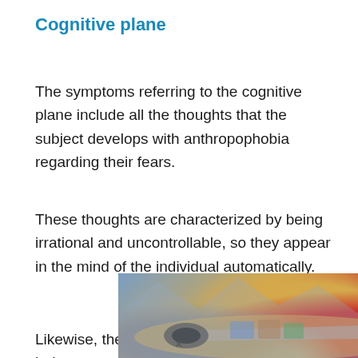Cognitive plane
The symptoms referring to the cognitive plane include all the thoughts that the subject develops with anthropophobia regarding their fears.
These thoughts are characterized by being irrational and uncontrollable, so they appear in the mind of the individual automatically.
Likewise, they are also characterized by being
[Figure (photo): Advertisement banner showing an airplane being loaded with cargo, with text overlay reading 'WITHOUT REGARD TO POLITICS, RELIGION, OR ABILITY TO PAY']
×